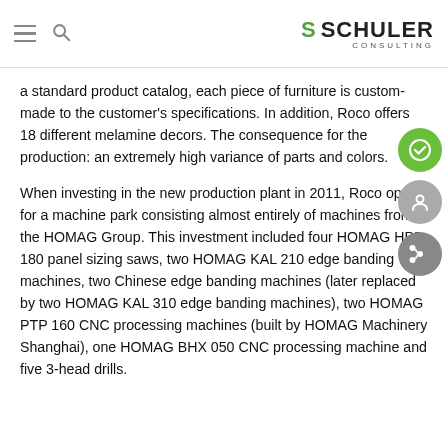S SCHULER CONSULTING
a standard product catalog, each piece of furniture is custom-made to the customer's specifications. In addition, Roco offers 18 different melamine decors. The consequence for the production: an extremely high variance of parts and colors.
When investing in the new production plant in 2011, Roco opted for a machine park consisting almost entirely of machines from the HOMAG Group. This investment included four HOMAG HPP 180 panel sizing saws, two HOMAG KAL 210 edge banding machines, two Chinese edge banding machines (later replaced by two HOMAG KAL 310 edge banding machines), two HOMAG PTP 160 CNC processing machines (built by HOMAG Machinery Shanghai), one HOMAG BHX 050 CNC processing machine and five 3-head drills.